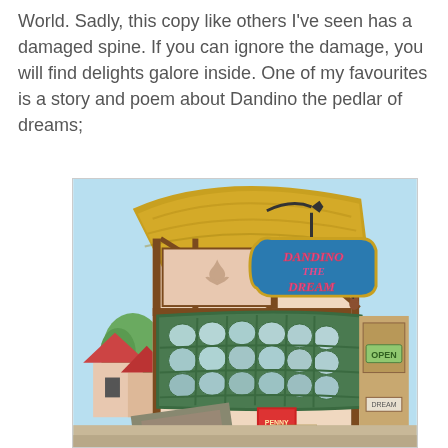World. Sadly, this copy like others I've seen has a damaged spine. If you can ignore the damage, you will find delights galore inside. One of my favourites is a story and poem about Dandino the pedlar of dreams;
[Figure (illustration): Colourful illustrated image of a quaint old English shop front with a thatched roof, timber framing, and a bow window with small glass panes. A hanging sign reads 'DANDINO THE DREAM MAN'. An 'OPEN' sign is visible on the right. In the background are red-roofed cottages and trees. In the foreground are boxes and signs on the shop steps.]